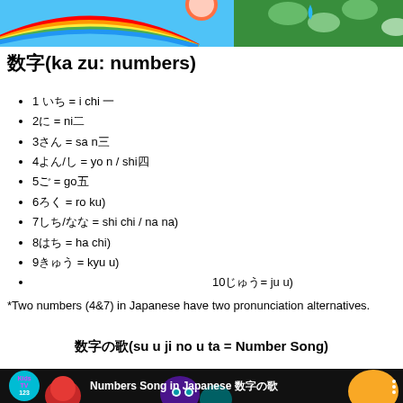[Figure (illustration): Colorful illustrated banner with rainbow, green leaves, and bright sky background]
数字(ka zu: numbers)
1 いち = i chi 一
2に = ni二
3さん = sa n三
4よん/し = yo n / shi四
5ご = go五
6ろく = ro ku)
7しち/なな = shi chi / na na)
8はち = ha chi)
9きゅう = kyu u)
10じゅう= ju u)
*Two numbers (4&7) in Japanese have two pronunciation alternatives.
数字の歌(su u ji no u ta = Number Song)
[Figure (screenshot): Video thumbnail showing Kids TV 123 logo and animated characters with text 'Numbers Song in Japanese 数字の歌']